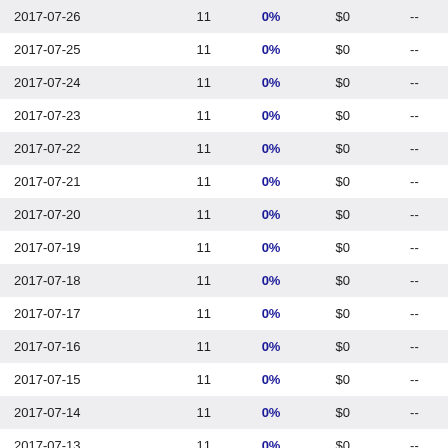| 2017-07-26 | 11 | 0% | $0 | -- |
| 2017-07-25 | 11 | 0% | $0 | -- |
| 2017-07-24 | 11 | 0% | $0 | -- |
| 2017-07-23 | 11 | 0% | $0 | -- |
| 2017-07-22 | 11 | 0% | $0 | -- |
| 2017-07-21 | 11 | 0% | $0 | -- |
| 2017-07-20 | 11 | 0% | $0 | -- |
| 2017-07-19 | 11 | 0% | $0 | -- |
| 2017-07-18 | 11 | 0% | $0 | -- |
| 2017-07-17 | 11 | 0% | $0 | -- |
| 2017-07-16 | 11 | 0% | $0 | -- |
| 2017-07-15 | 11 | 0% | $0 | -- |
| 2017-07-14 | 11 | 0% | $0 | -- |
| 2017-07-13 | 11 | 0% | $0 | -- |
| 2017-07-12 | 11 | 0% | $0 | -- |
| 2017-07-11 | 11 | 0% | $0 | -- |